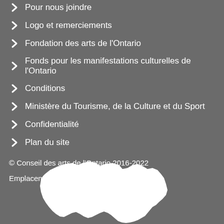Pour nous joindre
Logo et remerciements
Fondation des arts de l'Ontario
Fonds pour les manifestations culturelles de l'Ontario
Conditions
Ministère du Tourisme, de la Culture et du Sport
Confidentialité
Plan du site
© Conseil des arts de l'Ontario 2016-2022
Emplacement des bureaux du CAO
[Figure (map): White silhouette map shape of Ontario province on grey background]